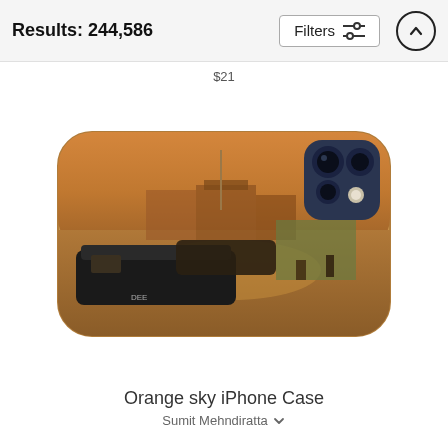Results: 244,586
$21
[Figure (photo): Product photo of an iPhone case featuring an orange-tinted canal scene with narrowboats, buildings, and a towpath under a warm sepia sky. The case shows a triple-camera cutout in the top-right corner.]
Orange sky iPhone Case
Sumit Mehndiratta